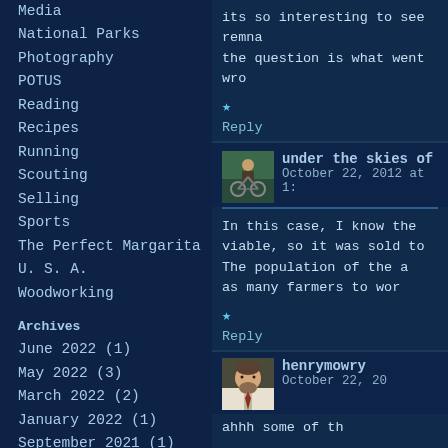Media
National Parks
Photography
POTUS
Reading
Recipes
Running
Scouting
Selling
Sports
The Perfect Margarita
U. S. A.
Woodworking
Archives
June 2022 (1)
May 2022 (3)
March 2022 (2)
January 2022 (1)
September 2021 (1)
May 2021 (2)
its so interesting to see remna the question is what went wro
Reply
under the skies of
October 22, 2012 at 1:
In this case, I know the viable, so it was sold to The population of the a as many farmers to wor
Reply
henrymowry
October 22, 20
ahhh some of th